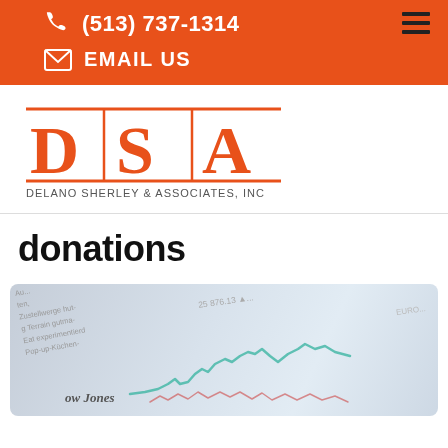(513) 737-1314  EMAIL US
[Figure (logo): DSA - Delano Sherley & Associates, Inc logo in orange]
donations
[Figure (photo): Close-up photo of financial newspaper showing a stock chart with Dow Jones line graph and numbers like 25,876.13, with teal/green chart line overlay]